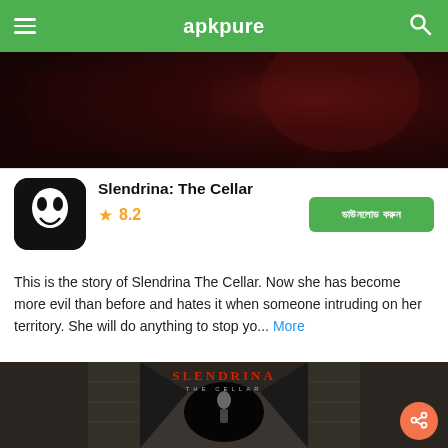apkpure
[Figure (screenshot): Dark horror game screenshot with red-tinted background, partial view]
[Figure (illustration): App icon for Slendrina: The Cellar — black background with white ghost/demon face mask]
Slendrina: The Cellar
8.2
ডাউনলোড করুন
This is the story of Slendrina The Cellar. Now she has become more evil than before and hates it when someone intruding on her territory. She will do anything to stop yo... More
[Figure (screenshot): Slendrina: The Cellar game screenshot showing dark stone corridor with 'SLENDRINA THE CELLAR' title text in red, with ghostly figure at the end of the hallway]